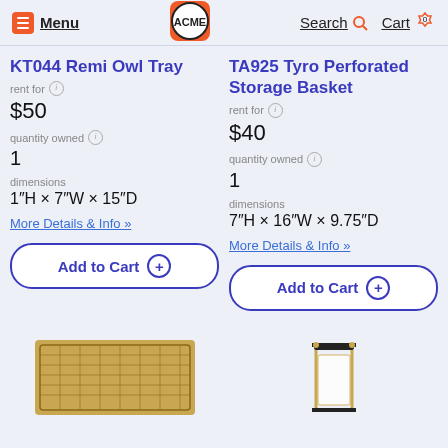Menu | ACME | Search | Cart 0
KT044 Remi Owl Tray
rent for $50
quantity owned 1
dimensions 1″H × 7″W × 15″D
More Details & Info »
Add to Cart
TA925 Tyro Perforated Storage Basket
rent for $40
quantity owned 1
dimensions 7″H × 16″W × 9.75″D
More Details & Info »
Add to Cart
[Figure (photo): Bronze/gold wire mesh rectangular tray]
[Figure (photo): Black and gold lantern-style storage item]